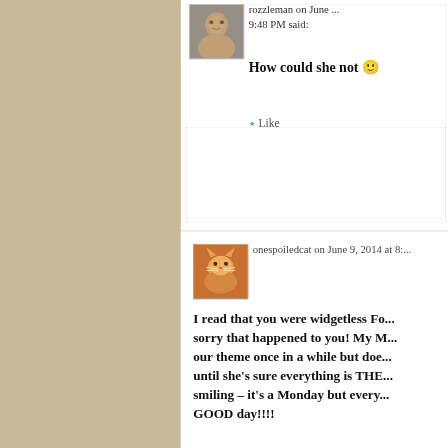rozzleman on June ... 9:48 PM said:
How could she not 🙂
★ Like
onespoiledcat on June 9, 2014 at 8:...
I read that you were widgetless Fo... sorry that happened to you! My M... our theme once in a while but doe... until she's sure everything is THE... smiling – it's a Monday but every... GOOD day!!!!
Hugs, Sammy
★ Like